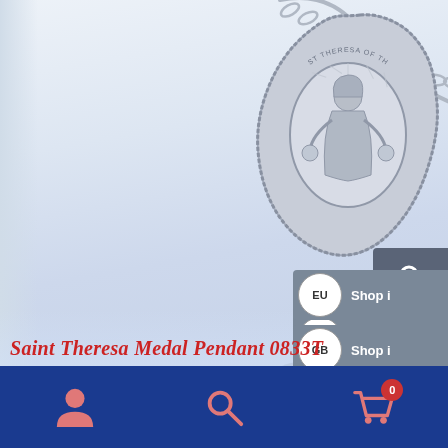[Figure (photo): Silver Saint Theresa medal pendant necklace on a chain, oval-shaped medal with ornate border and figure of Saint Theresa of the Child Jesus engraved, displayed on a light blue-grey gradient background]
Saint Theresa Medal Pendant 0833T
[Figure (infographic): Bottom navigation bar with person icon, search icon, and shopping cart icon with badge showing 0, on dark blue background. Side currency selector buttons: USD Shop in, CAD Shop in, EU Shop in, GB Shop in. Search button in grey.]